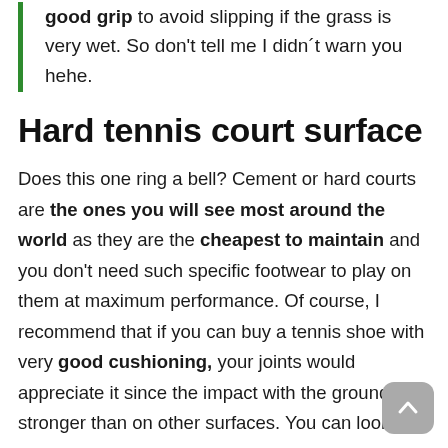good grip to avoid slipping if the grass is very wet. So don't tell me I didn't warn you hehe.
Hard tennis court surface
Does this one ring a bell? Cement or hard courts are the ones you will see most around the world as they are the cheapest to maintain and you don't need such specific footwear to play on them at maximum performance. Of course, I recommend that if you can buy a tennis shoe with very good cushioning, your joints would appreciate it since the impact with the ground is stronger than on other surfaces. You can look at